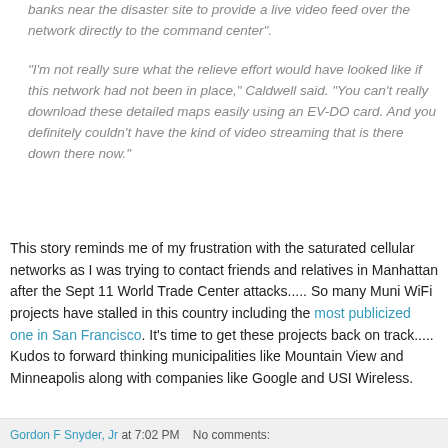banks near the disaster site to provide a live video feed over the network directly to the command center".
"I'm not really sure what the relieve effort would have looked like if this network had not been in place," Caldwell said. "You can't really download these detailed maps easily using an EV-DO card. And you definitely couldn't have the kind of video streaming that is there down there now."
This story reminds me of my frustration with the saturated cellular networks as I was trying to contact friends and relatives in Manhattan after the Sept 11 World Trade Center attacks..... So many Muni WiFi projects have stalled in this country including the most publicized one in San Francisco. It's time to get these projects back on track..... Kudos to forward thinking municipalities like Mountain View and Minneapolis along with companies like Google and USI Wireless.
Gordon F Snyder, Jr at 7:02 PM   No comments: